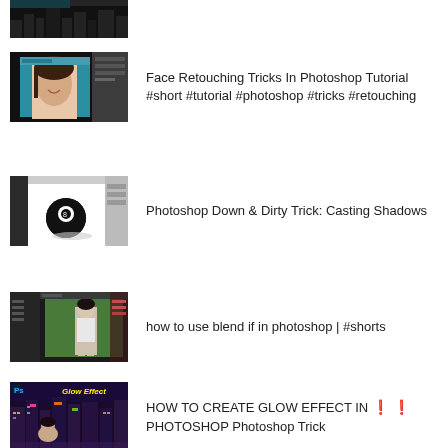[Figure (screenshot): Partial thumbnail of a dark pixelated graphic at top of page]
[Figure (screenshot): Thumbnail showing face retouching tutorial in Photoshop with a woman's face]
Face Retouching Tricks In Photoshop Tutorial #short #tutorial #photoshop #tricks #retouching
[Figure (screenshot): Thumbnail showing Photoshop casting shadows tutorial with a magic 8-ball]
Photoshop Down & Dirty Trick: Casting Shadows
[Figure (screenshot): Thumbnail showing how to use blend if in photoshop with a woman standing]
how to use blend if in photoshop | #shorts
[Figure (screenshot): Thumbnail showing glow effect tutorial in Photoshop with neon city background]
HOW TO CREATE GLOW EFFECT IN ❗ ❗ PHOTOSHOP Photoshop Trick